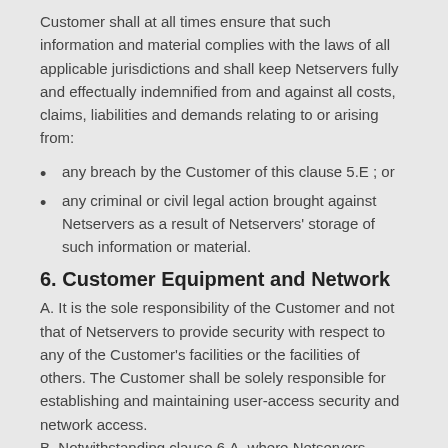Customer shall at all times ensure that such information and material complies with the laws of all applicable jurisdictions and shall keep Netservers fully and effectually indemnified from and against all costs, claims, liabilities and demands relating to or arising from:
any breach by the Customer of this clause 5.E ; or
any criminal or civil legal action brought against Netservers as a result of Netservers' storage of such information or material.
6. Customer Equipment and Network
A. It is the sole responsibility of the Customer and not that of Netservers to provide security with respect to any of the Customer's facilities or the facilities of others. The Customer shall be solely responsible for establishing and maintaining user-access security and network access.
B. Notwithstanding clause 6.A, where Netservers constructs on Intranet services for the Customer as part of the Services, Netservers shall be liable, subject always to the provisions of clause 16, for any failure to exercise reasonable skill and care